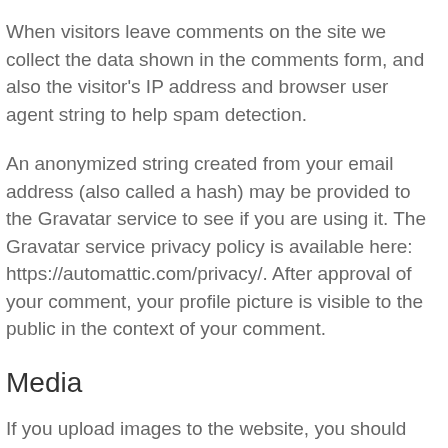When visitors leave comments on the site we collect the data shown in the comments form, and also the visitor's IP address and browser user agent string to help spam detection.
An anonymized string created from your email address (also called a hash) may be provided to the Gravatar service to see if you are using it. The Gravatar service privacy policy is available here: https://automattic.com/privacy/. After approval of your comment, your profile picture is visible to the public in the context of your comment.
Media
If you upload images to the website, you should avoid